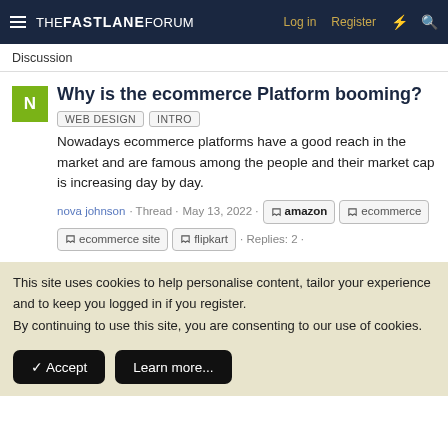THE FASTLANE FORUM  Log in  Register
Discussion
Why is the ecommerce Platform booming?
WEB DESIGN  INTRO
Nowadays ecommerce platforms have a good reach in the market and are famous among the people and their market cap is increasing day by day.
nova johnson · Thread · May 13, 2022 · amazon · ecommerce · ecommerce site · flipkart · Replies: 2 ·
This site uses cookies to help personalise content, tailor your experience and to keep you logged in if you register.
By continuing to use this site, you are consenting to our use of cookies.
Accept  Learn more...